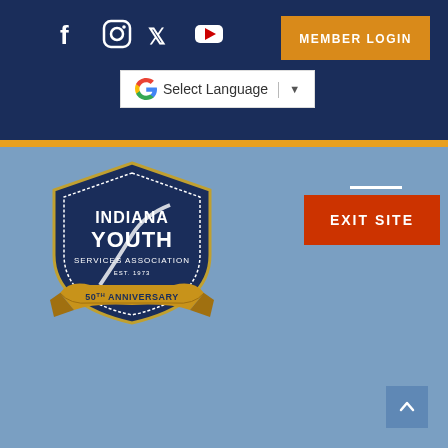[Figure (other): Dark navy blue header bar with social media icons (Facebook, Instagram, Twitter, YouTube), a gold/orange MEMBER LOGIN button, and a Google Translate language selector widget]
[Figure (logo): Indiana Youth Services Association shield logo with 50th Anniversary banner in gold, navy blue and white colors]
[Figure (other): Red EXIT SITE button with white horizontal line above it, on a blue-grey background]
[Figure (other): Scroll-to-top button (caret/up arrow) in muted blue square at bottom right]